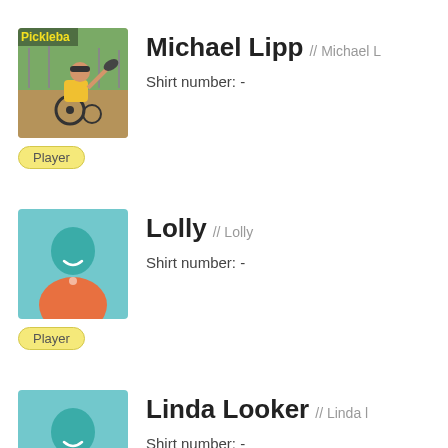[Figure (photo): Photo of Michael Lipp playing wheelchair pickleball, with a yellow 'Pickleball' text overlay at top left]
Michael Lipp // Michael L
Shirt number: -
Player
[Figure (illustration): Generic player avatar: teal head/body silhouette on light blue background with orange shirt]
Lolly // Lolly
Shirt number: -
Player
[Figure (illustration): Generic player avatar: teal head/body silhouette on light blue background with orange shirt]
Linda Looker // Linda l
Shirt number: -
Player